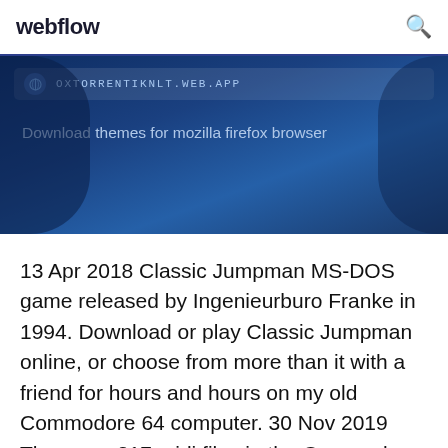webflow
[Figure (screenshot): Website banner showing URL bar with OXTORRENTIKNLT.WEB.APP and text 'Download themes for mozilla firefox browser' on a dark blue background]
13 Apr 2018 Classic Jumpman MS-DOS game released by Ingenieurburo Franke in 1994. Download or play Classic Jumpman online, or choose from more than it with a friend for hours and hours on my old Commodore 64 computer. 30 Nov 2019 There are 317 midi files in the Commodore 64/128 directory.